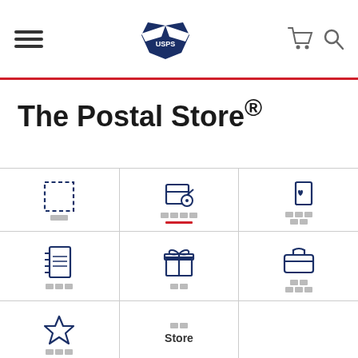[Figure (screenshot): USPS website header with hamburger menu, USPS eagle logo, shopping cart icon, and search icon]
The Postal Store®
[Figure (infographic): Grid of USPS Postal Store category icons: stamps, shipping supplies, greeting cards/envelopes, address book/notepad, gifts, business supplies, favorites/new arrivals, store]